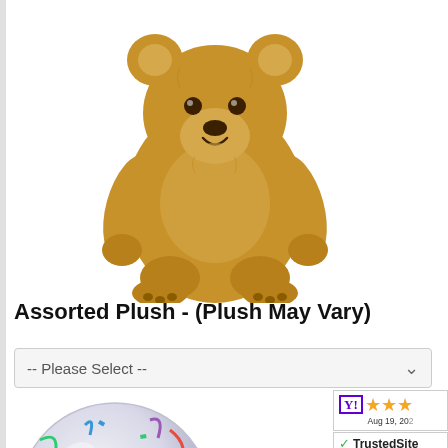[Figure (photo): A brown fluffy teddy bear plush toy sitting upright against a white background]
Assorted Plush - (Plush May Vary)
-- Please Select --
[Figure (photo): A round foil balloon with 'Happy Anniversary' text surrounded by colorful streamers and confetti on a silver/white background]
[Figure (infographic): Yahoo shopping rating badge with 3 orange stars and date Aug 19, 20...]
[Figure (logo): TrustedSite CERTIFIED SECURE badge with green checkmark]